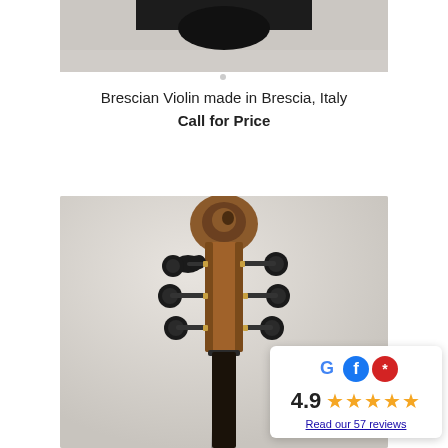[Figure (photo): Top portion of a violin body, showing dark chin rest and body top, against grey background]
Brescian Violin made in Brescia, Italy
Call for Price
[Figure (photo): Close-up frontal view of a violin scroll and pegbox with dark tuning pegs, warm brown varnish, against light grey background]
4.9  ★★★★★  Read our 57 reviews